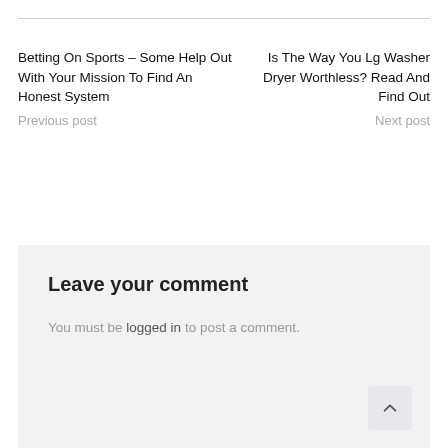Betting On Sports – Some Help Out With Your Mission To Find An Honest System
Previous post
Is The Way You Lg Washer Dryer Worthless? Read And Find Out
Next post
Leave your comment
You must be logged in to post a comment.